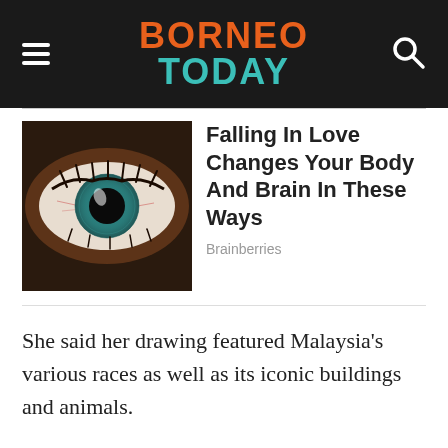BORNEO TODAY
[Figure (photo): Close-up photograph of a human eye with a striking teal/green iris against a dark background with visible eyelashes]
Falling In Love Changes Your Body And Brain In These Ways
Brainberries
She said her drawing featured Malaysia's various races as well as its iconic buildings and animals.